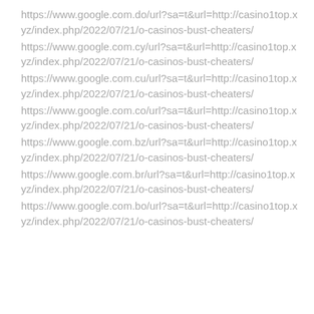https://www.google.com.do/url?sa=t&url=http://casino1top.xyz/index.php/2022/07/21/o-casinos-bust-cheaters/
https://www.google.com.cy/url?sa=t&url=http://casino1top.xyz/index.php/2022/07/21/o-casinos-bust-cheaters/
https://www.google.com.cu/url?sa=t&url=http://casino1top.xyz/index.php/2022/07/21/o-casinos-bust-cheaters/
https://www.google.com.co/url?sa=t&url=http://casino1top.xyz/index.php/2022/07/21/o-casinos-bust-cheaters/
https://www.google.com.bz/url?sa=t&url=http://casino1top.xyz/index.php/2022/07/21/o-casinos-bust-cheaters/
https://www.google.com.br/url?sa=t&url=http://casino1top.xyz/index.php/2022/07/21/o-casinos-bust-cheaters/
https://www.google.com.bo/url?sa=t&url=http://casino1top.xyz/index.php/2022/07/21/o-casinos-bust-cheaters/